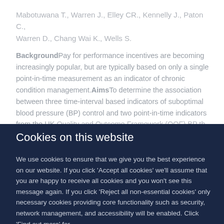Mabotuwana T., Warren J., Elley CR., Kennelly J., Paton C., Warren D., Chang Wai K., Wells S.
BackgroundPay for performance incentives are becoming increasingly popular, but are typically based on only a single point-in-time measurement as an indicator of chronic condition management.AimsTo determine the association between three time-interval based indicators of suboptimal blood pressure (BP) control and two point-in-time indicators from the UK Quality and Outcome Framework (QOF) BP the...
Cookies on this website
We use cookies to ensure that we give you the best experience on our website. If you click 'Accept all cookies' we'll assume that you are happy to receive all cookies and you won't see this message again. If you click 'Reject all non-essential cookies' only necessary cookies providing core functionality such as security, network management, and accessibility will be enabled. Click 'Find out more' for